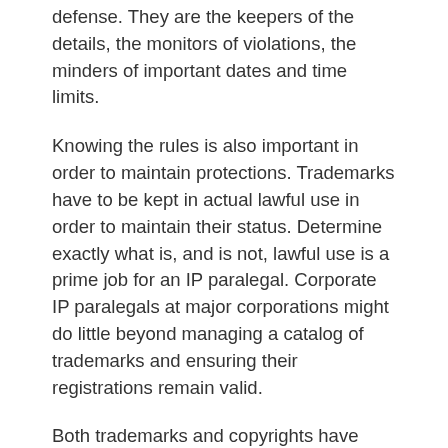defense. They are the keepers of the details, the monitors of violations, the minders of important dates and time limits.
Knowing the rules is also important in order to maintain protections. Trademarks have to be kept in actual lawful use in order to maintain their status. Determine exactly what is, and is not, lawful use is a prime job for an IP paralegal. Corporate IP paralegals at major corporations might do little beyond managing a catalog of trademarks and ensuring their registrations remain valid.
Both trademarks and copyrights have certain standards that works have to meet to be eligible. There is rarely a bright line rule involved, so paralegals have to be adept at applying precedent from previous court